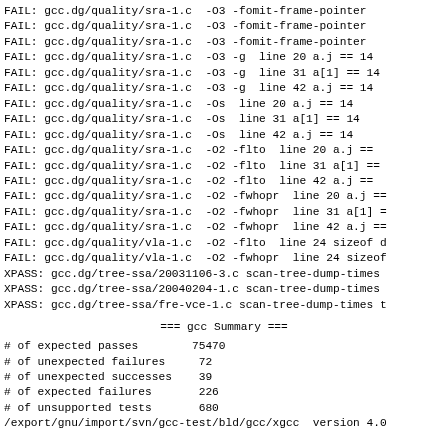FAIL: gcc.dg/quality/sra-1.c  -O3 -fomit-frame-pointer
FAIL: gcc.dg/quality/sra-1.c  -O3 -fomit-frame-pointer
FAIL: gcc.dg/quality/sra-1.c  -O3 -fomit-frame-pointer
FAIL: gcc.dg/quality/sra-1.c  -O3 -g  line 20 a.j == 14
FAIL: gcc.dg/quality/sra-1.c  -O3 -g  line 31 a[1] == 14
FAIL: gcc.dg/quality/sra-1.c  -O3 -g  line 42 a.j == 14
FAIL: gcc.dg/quality/sra-1.c  -Os  line 20 a.j == 14
FAIL: gcc.dg/quality/sra-1.c  -Os  line 31 a[1] == 14
FAIL: gcc.dg/quality/sra-1.c  -Os  line 42 a.j == 14
FAIL: gcc.dg/quality/sra-1.c  -O2 -flto  line 20 a.j == 1
FAIL: gcc.dg/quality/sra-1.c  -O2 -flto  line 31 a[1] ==
FAIL: gcc.dg/quality/sra-1.c  -O2 -flto  line 42 a.j == 1
FAIL: gcc.dg/quality/sra-1.c  -O2 -fwhopr  line 20 a.j ==
FAIL: gcc.dg/quality/sra-1.c  -O2 -fwhopr  line 31 a[1] =
FAIL: gcc.dg/quality/sra-1.c  -O2 -fwhopr  line 42 a.j ==
FAIL: gcc.dg/quality/vla-1.c  -O2 -flto  line 24 sizeof d
FAIL: gcc.dg/quality/vla-1.c  -O2 -fwhopr  line 24 sizeof
XPASS: gcc.dg/tree-ssa/20031106-3.c scan-tree-dump-times
XPASS: gcc.dg/tree-ssa/20040204-1.c scan-tree-dump-times
XPASS: gcc.dg/tree-ssa/fre-vce-1.c scan-tree-dump-times t
=== gcc Summary ===
| # of expected passes | 75470 |
| # of unexpected failures | 72 |
| # of unexpected successes | 39 |
| # of expected failures | 226 |
| # of unsupported tests | 680 |
/export/gnu/import/svn/gcc-test/bld/gcc/xgcc  version 4.0